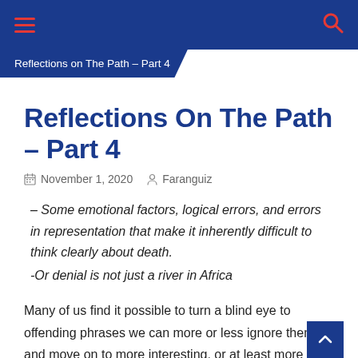Reflections on The Path – Part 4
Reflections On The Path – Part 4
November 1, 2020  Faranguiz
– Some emotional factors, logical errors, and errors in representation that make it inherently difficult to think clearly about death.
-Or denial is not just a river in Africa
Many of us find it possible to turn a blind eye to offending phrases we can more or less ignore them and move on to more interesting, or at least more agreeable, themes. Some of us do that for a time, perhaps some continue in that way. If you don't feel that the points in question are central perhaps, justification